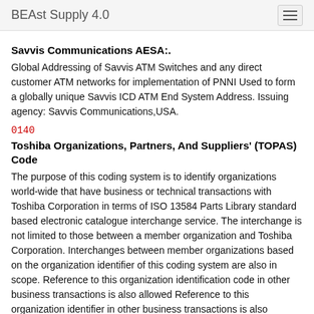BEAst Supply 4.0
Savvis Communications AESA:.
Global Addressing of Savvis ATM Switches and any direct customer ATM networks for implementation of PNNI Used to form a globally unique Savvis ICD ATM End System Address. Issuing agency: Savvis Communications,USA.
0140
Toshiba Organizations, Partners, And Suppliers' (TOPAS) Code
The purpose of this coding system is to identify organizations world-wide that have business or technical transactions with Toshiba Corporation in terms of ISO 13584 Parts Library standard based electronic catalogue interchange service. The interchange is not limited to those between a member organization and Toshiba Corporation. Interchanges between member organizations based on the organization identifier of this coding system are also in scope. Reference to this organization identification code in other business transactions is also allowed Reference to this organization identifier in other business transactions is also possible provided the organizations concerned are registered as members of the issuing agency, Toshiba Corporation Japan.